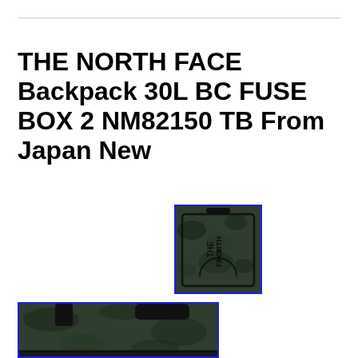THE NORTH FACE Backpack 30L BC FUSE BOX 2 NM82150 TB From Japan New
[Figure (photo): Small thumbnail image of The North Face BC Fuse Box 2 backpack in camouflage/dark green pattern, shown from front, with blue border frame]
[Figure (photo): Larger product image of The North Face BC Fuse Box 2 backpack top view showing handles and straps in dark camouflage green, with blue border frame, partially cropped]